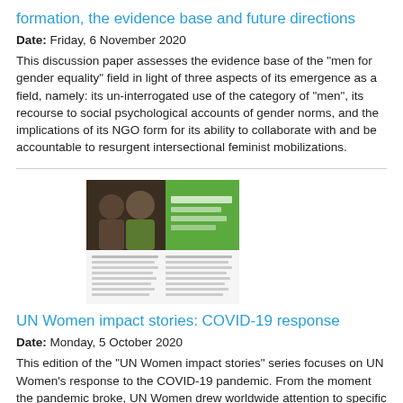formation, the evidence base and future directions
Date: Friday, 6 November 2020
This discussion paper assesses the evidence base of the "men for gender equality" field in light of three aspects of its emergence as a field, namely: its un-interrogated use of the category of "men", its recourse to social psychological accounts of gender norms, and the implications of its NGO form for its ability to collaborate with and be accountable to resurgent intersectional feminist mobilizations.
[Figure (photo): Thumbnail image showing people and a green banner/document cover, with a two-column text page below it.]
UN Women impact stories: COVID-19 response
Date: Monday, 5 October 2020
This edition of the "UN Women impact stories" series focuses on UN Women's response to the COVID-19 pandemic. From the moment the pandemic broke, UN Women drew worldwide attention to specific tolls on women and girls. This selection of stories highlights